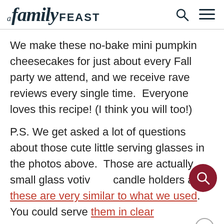A family FEAST
We make these no-bake mini pumpkin cheesecakes for just about every Fall party we attend, and we receive rave reviews every single time.  Everyone loves this recipe! (I think you will too!)
P.S. We get asked a lot of questions about those cute little serving glasses in the photos above.  Those are actually small glass votive candle holders and these are very similar to what we used. You could serve them in clear